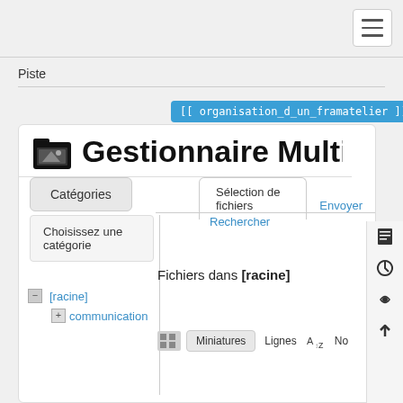Piste
[[ organisation_d_un_framatelier ]]
Gestionnaire Multime…
Sélection de fichiers
Envoyer
Rechercher
Catégories
Choisissez une catégorie
- [racine]
+ communication
Fichiers dans [racine]
Miniatures  Lignes  No…